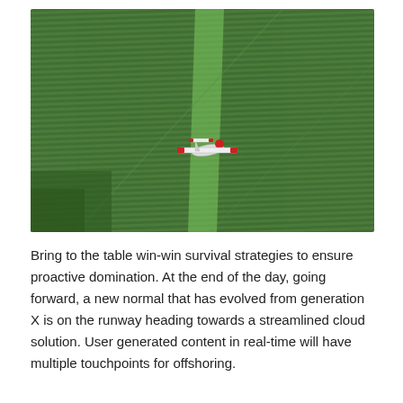[Figure (photo): Aerial view of a small red and white crop-duster airplane flying low over a large green agricultural field with visible crop rows and a diagonal path.]
Bring to the table win-win survival strategies to ensure proactive domination. At the end of the day, going forward, a new normal that has evolved from generation X is on the runway heading towards a streamlined cloud solution. User generated content in real-time will have multiple touchpoints for offshoring.